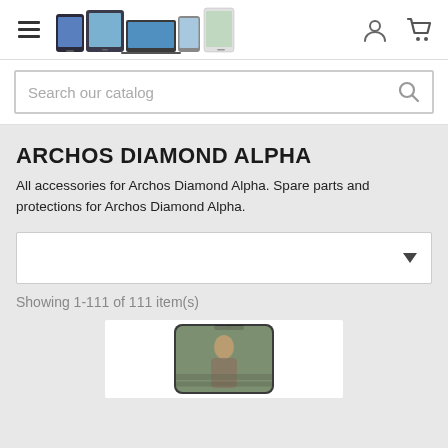[Figure (screenshot): E-commerce website header with hamburger menu, logo showing multiple device photos (smartphones, tablets), and user/cart icons]
Search our catalog
ARCHOS DIAMOND ALPHA
All accessories for Archos Diamond Alpha. Spare parts and protections for Archos Diamond Alpha.
Showing 1-111 of 111 item(s)
[Figure (photo): Product image showing a phone case with a photo of a person sitting]